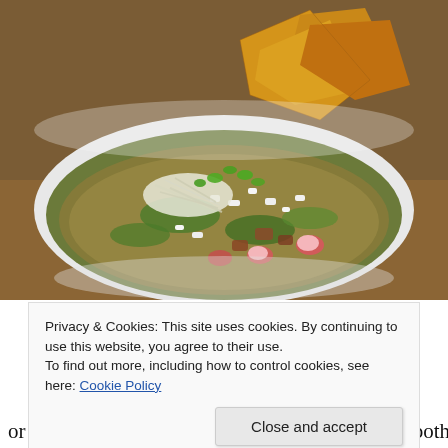[Figure (photo): A white bowl of posole (Mexican hominy soup) topped with shredded cabbage, crumbled white cheese (queso fresco), fresh cilantro, sliced radishes, and crispy tortilla chips, served on a wooden table.]
Privacy & Cookies: This site uses cookies. By continuing to use this website, you agree to their use.
To find out more, including how to control cookies, see here: Cookie Policy
Close and accept
or just posole. Friends convinced me we can do both. This